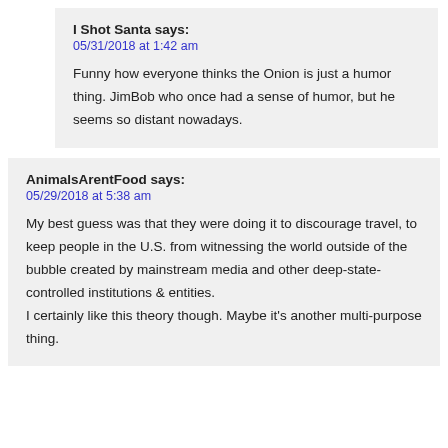I Shot Santa says:
05/31/2018 at 1:42 am
Funny how everyone thinks the Onion is just a humor thing. JimBob who once had a sense of humor, but he seems so distant nowadays.
AnimalsArentFood says:
05/29/2018 at 5:38 am
My best guess was that they were doing it to discourage travel, to keep people in the U.S. from witnessing the world outside of the bubble created by mainstream media and other deep-state-controlled institutions & entities. I certainly like this theory though. Maybe it's another multi-purpose thing.